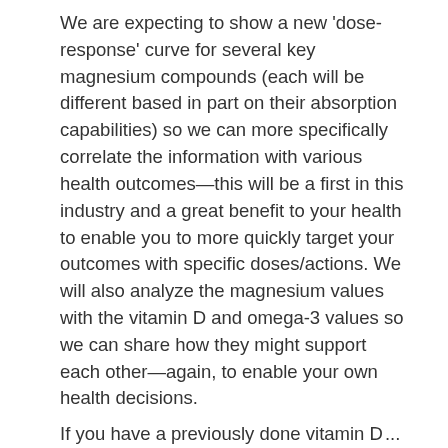We are expecting to show a new 'dose-response' curve for several key magnesium compounds (each will be different based in part on their absorption capabilities) so we can more specifically correlate the information with various health outcomes—this will be a first in this industry and a great benefit to your health to enable you to more quickly target your outcomes with specific doses/actions. We will also analyze the magnesium values with the vitamin D and omega-3 values so we can share how they might support each other—again, to enable your own health decisions.
If you have a previously done vitamin D...